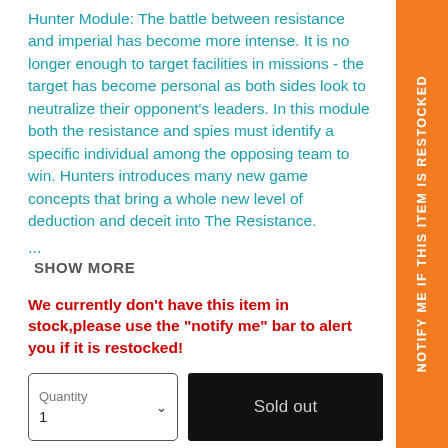Hunter Module: The battle between resistance and imperial has become more intense. It is no longer enough to target facilities in missions - the target has become personal as both sides look to neutralize their opponent's leaders. In this module both the resistance and spies must identify a specific individual among the opposing team to win. Hunters introduces many new game concepts that bring a whole new level of deduction and deceit into The Resistance.
...
SHOW MORE
We currently don't have this item in stock,please use the "notify me" bar to alert you if it is restocked!
Quantity
1
Sold out
Add to Wishlist
NOTIFY ME IF THIS ITEM IS RESTOCKED